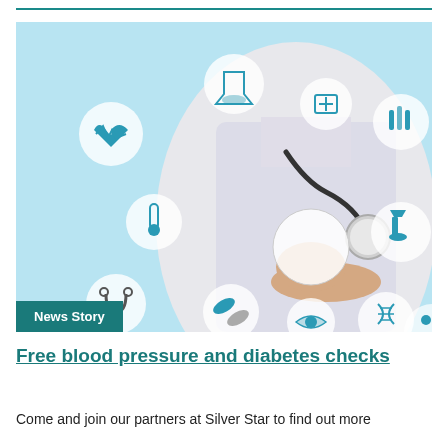[Figure (photo): Doctor in white coat holding a stethoscope with various medical icons in circular bubbles floating around: heart with ECG, thermometer, stethoscope, pills, microscope, test tubes, first aid kit, DNA helix, and other medical symbols on a light blue background. A teal 'News Story' badge overlays the bottom-left corner.]
Free blood pressure and diabetes checks
Come and join our partners at Silver Star to find out more